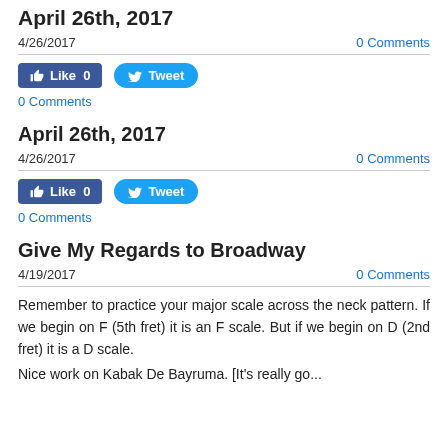April 26th, 2017
4/26/2017
0 Comments
[Figure (other): Facebook Like button (Like 0) and Twitter Tweet button]
0 Comments
April 26th, 2017
4/26/2017
0 Comments
[Figure (other): Facebook Like button (Like 0) and Twitter Tweet button]
0 Comments
Give My Regards to Broadway
4/19/2017
0 Comments
Remember to practice your major scale across the neck pattern. If we begin on F (5th fret) it is an F scale. But if we begin on D (2nd fret) it is a D scale.
Nice work on Kabak De Bayruma. [It's really go...